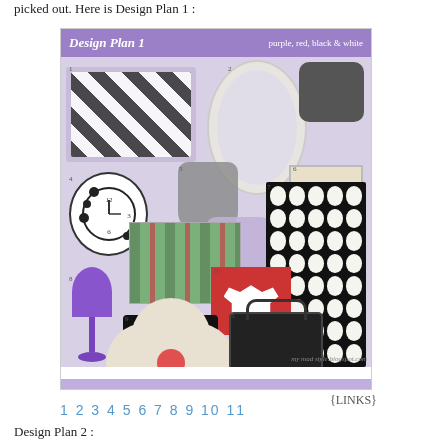picked out. Here is Design Plan 1 :
[Figure (photo): Design Plan 1 mood board showing purple, red, black & white themed items including crib bumper, oval mirror, dark device, flower clock, M pillow, polka dot dresses, polka dot rug, art print, purple lamp, dog silhouette print, flower pillow, and patterned bag. Header reads 'Design Plan 1' with subtitle 'purple, red, black & white'. Footer shows mymadstyle.blogspot.com watermark.]
{LINKS}
1 2 3 4 5 6 7 8 9 10 11
Design Plan 2 :